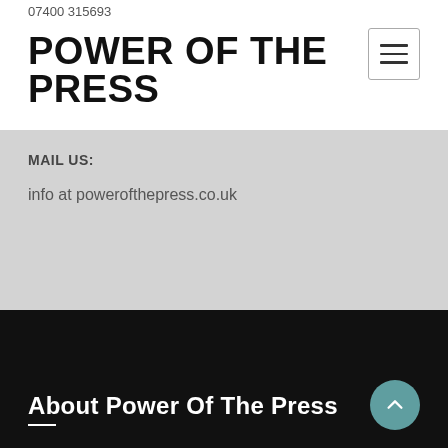POWER OF THE PRESS
MAIL US:
info at powerofthepress.co.uk
About Power Of The Press
About Power Of The Press